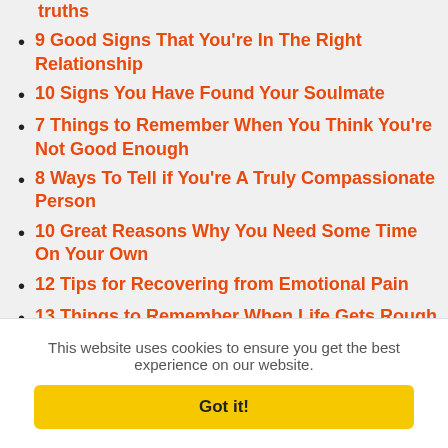truths
9 Good Signs That You're In The Right Relationship
10 Signs You Have Found Your Soulmate
7 Things to Remember When You Think You're Not Good Enough
8 Ways To Tell if You're A Truly Compassionate Person
10 Great Reasons Why You Need Some Time On Your Own
12 Tips for Recovering from Emotional Pain
13 Things to Remember When Life Gets Rough
20 Signs It's Time To Let Go & Move On
25 Signs You're Succeeding At Life (Even If It
This website uses cookies to ensure you get the best experience on our website.